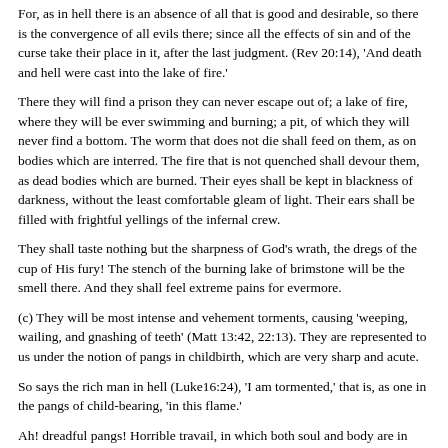For, as in hell there is an absence of all that is good and desirable, so there is the convergence of all evils there; since all the effects of sin and of the curse take their place in it, after the last judgment. (Rev 20:14), 'And death and hell were cast into the lake of fire.'
There they will find a prison they can never escape out of; a lake of fire, where they will be ever swimming and burning; a pit, of which they will never find a bottom. The worm that does not die shall feed on them, as on bodies which are interred. The fire that is not quenched shall devour them, as dead bodies which are burned. Their eyes shall be kept in blackness of darkness, without the least comfortable gleam of light. Their ears shall be filled with frightful yellings of the infernal crew.
They shall taste nothing but the sharpness of God's wrath, the dregs of the cup of His fury! The stench of the burning lake of brimstone will be the smell there. And they shall feel extreme pains for evermore.
(c) They will be most intense and vehement torments, causing 'weeping, wailing, and gnashing of teeth' (Matt 13:42, 22:13). They are represented to us under the notion of pangs in childbirth, which are very sharp and acute.
So says the rich man in hell (Luke16:24), 'I am tormented,' that is, as one in the pangs of child-bearing, 'in this flame.'
Ah! dreadful pangs! Horrible travail, in which both soul and body are in pangs together! Helpless anguish, hopeless and endless!
The word used for hell (Matt 5:22), and in various other places of the New Testament, properly denotes the valley of Hinnom, the name being taken from the